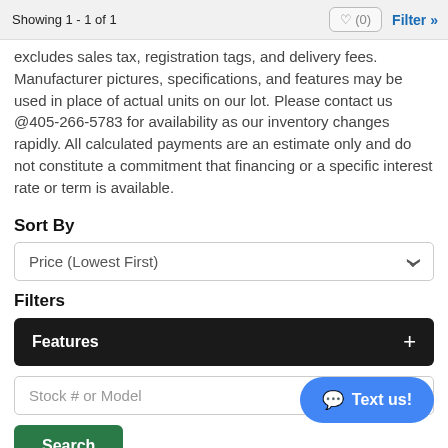Showing 1 - 1 of 1
excludes sales tax, registration tags, and delivery fees. Manufacturer pictures, specifications, and features may be used in place of actual units on our lot. Please contact us @405-266-5783 for availability as our inventory changes rapidly. All calculated payments are an estimate only and do not constitute a commitment that financing or a specific interest rate or term is available.
Sort By
Price (Lowest First)
Filters
Features
Stock # or Model
Search
Text us!